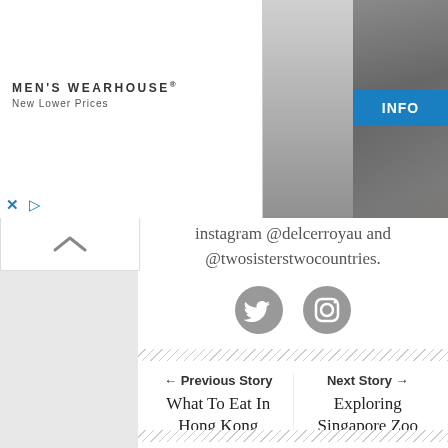[Figure (photo): Men's Wearhouse advertisement banner with couple in formal wear and man in tuxedo, with INFO button]
instagram @delcerroyau and @twosisterstwocountries.
[Figure (illustration): Twitter and Instagram social media icons]
← Previous Story
What To Eat In Hong Kong
Next Story →
Exploring Singapore Zoo After Dark
YOU MAY ALSO LIKE...
From Roswell To The Chihuahuan Desert: Southeast New Mexico Travel